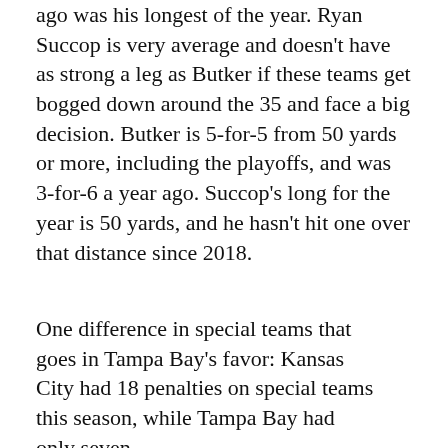ago was his longest of the year. Ryan Succop is very average and doesn't have as strong a leg as Butker if these teams get bogged down around the 35 and face a big decision. Butker is 5-for-5 from 50 yards or more, including the playoffs, and was 3-for-6 a year ago. Succop's long for the year is 50 yards, and he hasn't hit one over that distance since 2018.
One difference in special teams that goes in Tampa Bay's favor: Kansas City had 18 penalties on special teams this season, while Tampa Bay had only seven.
OUTLOOK
On one hand, we have our stats which suggest that Tampa Bay...